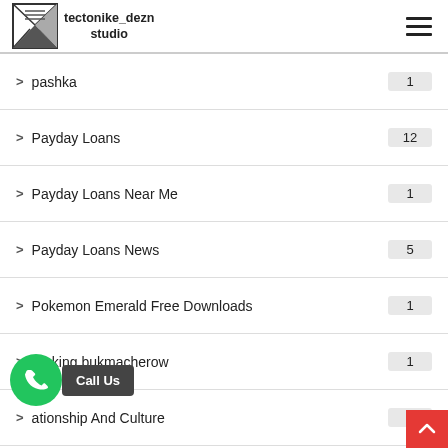tectonike_dezn studio
pashka  1
Payday Loans  12
Payday Loans Near Me  1
Payday Loans News  5
Pokemon Emerald Free Downloads  1
ranking bukmacherow  1
ationship And Culture  1
russian brides  1